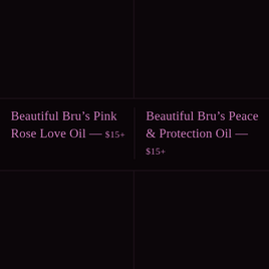[Figure (photo): Top-left dark product image panel]
[Figure (photo): Top-right dark product image panel]
Beautiful Bru’s Pink Rose Love Oil — $15+
Beautiful Bru’s Peace & Protection Oil — $15+
[Figure (photo): Bottom-left dark product image panel]
[Figure (photo): Bottom-right dark product image panel]